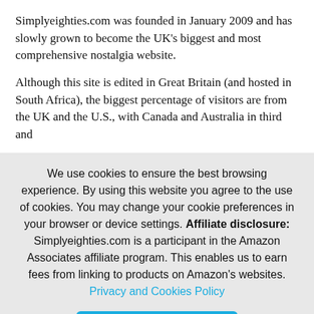Simplyeighties.com was founded in January 2009 and has slowly grown to become the UK's biggest and most comprehensive nostalgia website.
Although this site is edited in Great Britain (and hosted in South Africa), the biggest percentage of visitors are from the UK and the U.S., with Canada and Australia in third and
We use cookies to ensure the best browsing experience. By using this website you agree to the use of cookies. You may change your cookie preferences in your browser or device settings. Affiliate disclosure: Simplyeighties.com is a participant in the Amazon Associates affiliate program. This enables us to earn fees from linking to products on Amazon's websites. Privacy and Cookies Policy